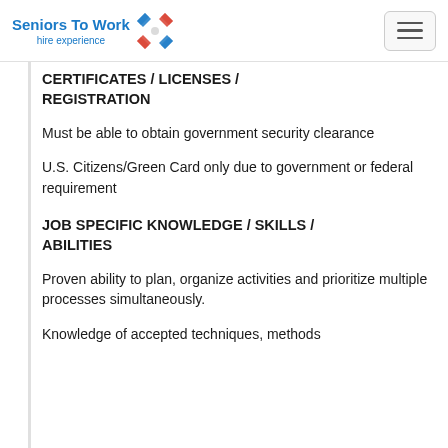Seniors To Work hire experience
CERTIFICATES / LICENSES / REGISTRATION
Must be able to obtain government security clearance
U.S. Citizens/Green Card only due to government or federal requirement
JOB SPECIFIC KNOWLEDGE / SKILLS / ABILITIES
Proven ability to plan, organize activities and prioritize multiple processes simultaneously.
Knowledge of accepted techniques, methods